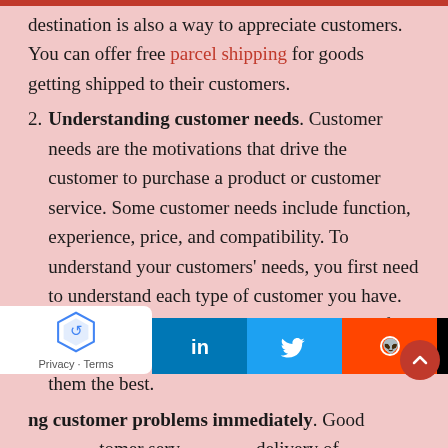destination is also a way to appreciate customers. You can offer free parcel shipping for goods getting shipped to their customers.
2. Understanding customer needs. Customer needs are the motivations that drive the customer to purchase a product or customer service. Some customer needs include function, experience, price, and compatibility. To understand your customers' needs, you first need to understand each type of customer you have. After that, you should understand the kind of products the customer always wants and give them the best.
3. [partially visible] ng customer problems immediately. Good [partially visible] tomer serv... delivery of products or... the